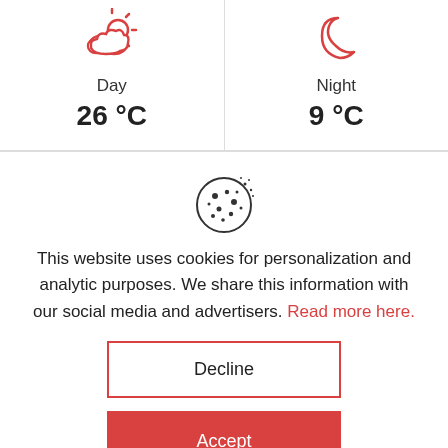[Figure (infographic): Weather widget showing two cells: Day with partly cloudy sun icon (red) and 26°C, Night with crescent moon icon (red) and 9°C]
Day
26 °C
Night
9 °C
[Figure (illustration): Cookie icon — round biscuit with chocolate chip dots, outline style]
This website uses cookies for personalization and analytic purposes. We share this information with our social media and advertisers. Read more here.
Decline
Accept